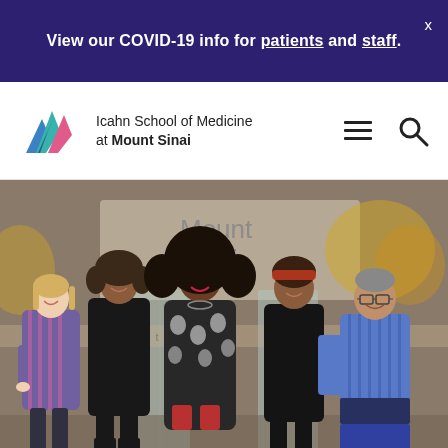View our COVID-19 info for patients and staff.
[Figure (logo): Icahn School of Medicine at Mount Sinai logo with mountain/chevron icon in blue, teal, and pink]
Icahn School of Medicine at Mount Sinai
[Figure (photo): Five people standing together in front of a Mount Sinai building entrance, smiling at the camera. From left: a woman in a striped purple/pink dress, a woman in a black turtleneck with curly hair, a woman in a black and white patterned dress with large natural hair, a woman in a black turtleneck with red hair, and a man in a blue striped shirt.]